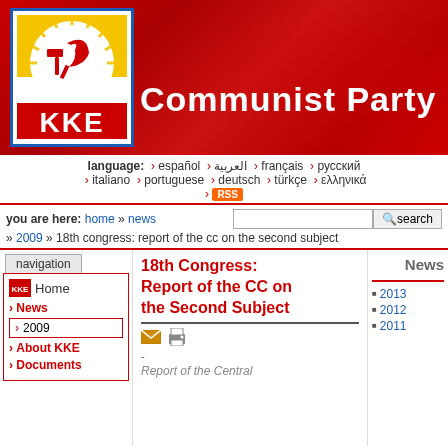[Figure (logo): KKE Communist Party website header banner with red background, KKE logo on left (hammer and sickle on yellow/white background with blue border, red KKE letters), and 'Communist Party' text in white on the right]
language: ‣ español ‣ العربية ‣ français ‣ русский ‣ italiano ‣ portuguese ‣ deutsch ‣ türkçe ‣ ελληνικά ‣ RSS
you are here: home » news » 2009 » 18th congress: report of the cc on the second subject
navigation
Home
News
2009
About KKE
Documents
18th Congress: Report of the CC on the Second Subject
News
2013
2012
2011
Report of the Central